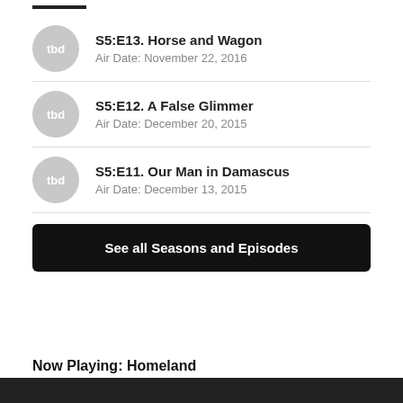S5:E13. Horse and Wagon
Air Date: November 22, 2016
S5:E12. A False Glimmer
Air Date: December 20, 2015
S5:E11. Our Man in Damascus
Air Date: December 13, 2015
See all Seasons and Episodes
Now Playing: Homeland